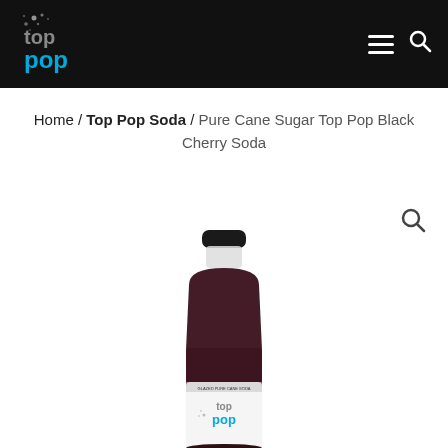Top Pop logo, navigation hamburger menu, search icon
Home / Top Pop Soda / Pure Cane Sugar Top Pop Black Cherry Soda
[Figure (photo): A bottle of Pure Cane Sugar Top Pop Black Cherry Soda with a dark cherry-colored liquid, black cap, and white label showing the Top Pop logo.]